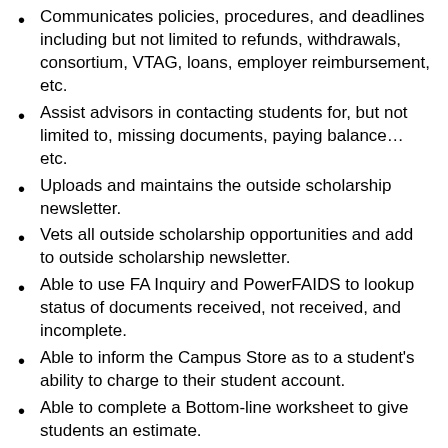Communicates policies, procedures, and deadlines including but not limited to refunds, withdrawals, consortium, VTAG, loans, employer reimbursement, etc.
Assist advisors in contacting students for, but not limited to, missing documents, paying balance…etc.
Uploads and maintains the outside scholarship newsletter.
Vets all outside scholarship opportunities and add to outside scholarship newsletter.
Able to use FA Inquiry and PowerFAIDS to lookup status of documents received, not received, and incomplete.
Able to inform the Campus Store as to a student's ability to charge to their student account.
Able to complete a Bottom-line worksheet to give students an estimate.
Able to answer general financial aid questions and explain to students and families, such as FAFSA, how to obtain an FSA ID, important government websites, VTAG information, deadlines, standards, and understanding